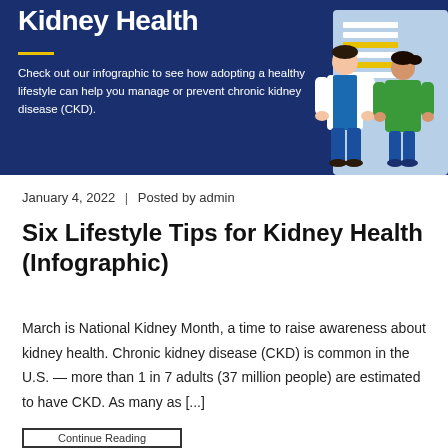[Figure (infographic): Dark navy blue banner with white bold text 'Kidney Health' at the top, a short yellow horizontal line below it, descriptive text about the infographic on the left, and an illustration of two people (a doctor and a patient) on the right side.]
January 4, 2022  |  Posted by admin
Six Lifestyle Tips for Kidney Health (Infographic)
March is National Kidney Month, a time to raise awareness about kidney health. Chronic kidney disease (CKD) is common in the U.S. — more than 1 in 7 adults (37 million people) are estimated to have CKD. As many as [...]